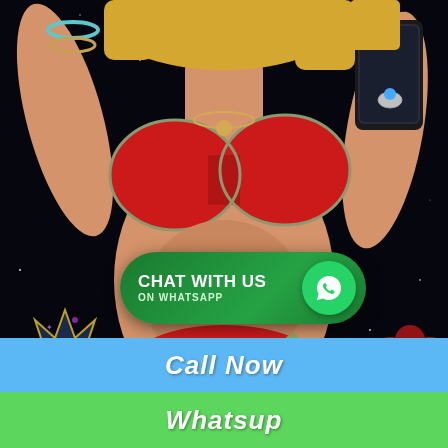[Figure (illustration): Animated/illustrated blonde woman in red bikini taking a selfie with a smartphone, against a dark starry background. GTA-style artwork.]
[Figure (infographic): Green rounded rectangle WhatsApp button with text 'CHAT WITH US ON WHATSAPP' and WhatsApp logo icon on the right side.]
[Figure (infographic): Gold and dark medal badge with crown on top and '#1' text inside.]
Call Now
Whatsup